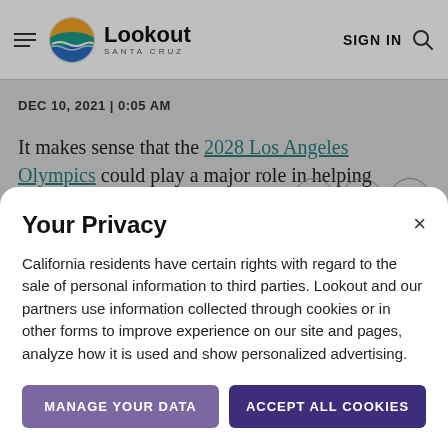Lookout Santa Cruz — SIGN IN
DEC 10, 2021 | 0:05 AM
It makes sense that the 2028 Los Angeles Olympics could play a major role in helping surfing and skateboarding earn regular spots
Your Privacy
California residents have certain rights with regard to the sale of personal information to third parties. Lookout and our partners use information collected through cookies or in other forms to improve experience on our site and pages, analyze how it is used and show personalized advertising.
MANAGE YOUR DATA
ACCEPT ALL COOKIES